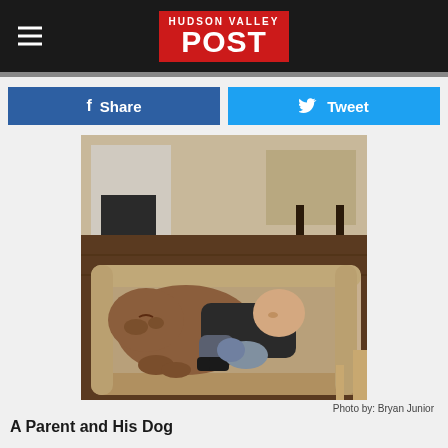HUDSON VALLEY POST
[Figure (other): Facebook Share button and Twitter Tweet button in a two-column row]
[Figure (photo): A large brown pit bull dog and a baby sleeping together on a large beige dog bed in a living room. A chair and fireplace are visible in the background.]
Photo by: Bryan Junior
A Parent and His Dog...